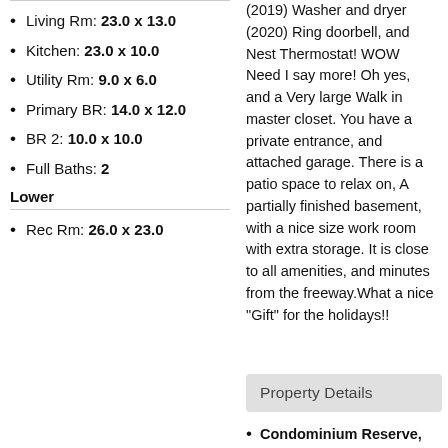Living Rm: 23.0 x 13.0
Kitchen: 23.0 x 10.0
Utility Rm: 9.0 x 6.0
Primary BR: 14.0 x 12.0
BR 2: 10.0 x 10.0
Full Baths: 2
Lower
Rec Rm: 26.0 x 23.0
(2019) Washer and dryer (2020) Ring doorbell, and Nest Thermostat! WOW Need I say more! Oh yes, and a Very large Walk in master closet. You have a private entrance, and attached garage. There is a patio space to relax on, A partially finished basement, with a nice size work room with extra storage. It is close to all amenities, and minutes from the freeway.What a nice "Gift" for the holidays!!
Property Details
Condominium Reserve,